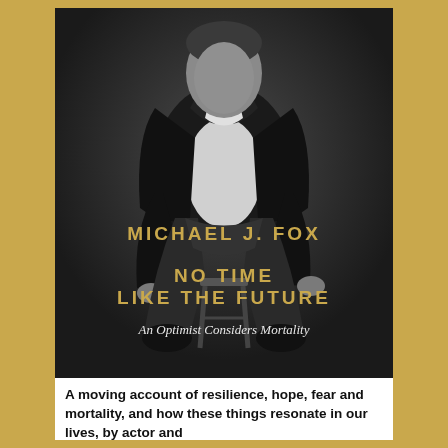[Figure (photo): Black and white photograph of Michael J. Fox sitting on a stool, wearing a black leather jacket over a white t-shirt and jeans. The background is dark grey.]
MICHAEL J. FOX
NO TIME
LIKE THE FUTURE
An Optimist Considers Mortality
A moving account of resilience, hope, fear and mortality, and how these things resonate in our lives, by actor and